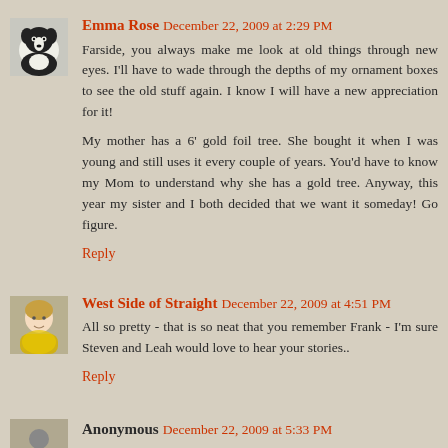[Figure (photo): Avatar photo of a black and white dog (border collie type)]
Emma Rose December 22, 2009 at 2:29 PM
Farside, you always make me look at old things through new eyes. I'll have to wade through the depths of my ornament boxes to see the old stuff again. I know I will have a new appreciation for it!
My mother has a 6' gold foil tree. She bought it when I was young and still uses it every couple of years. You'd have to know my Mom to understand why she has a gold tree. Anyway, this year my sister and I both decided that we want it someday! Go figure.
Reply
[Figure (photo): Avatar photo of a woman with short blonde hair wearing a yellow top]
West Side of Straight December 22, 2009 at 4:51 PM
All so pretty - that is so neat that you remember Frank - I'm sure Steven and Leah would love to hear your stories..
Reply
Anonymous December 22, 2009 at 5:33 PM